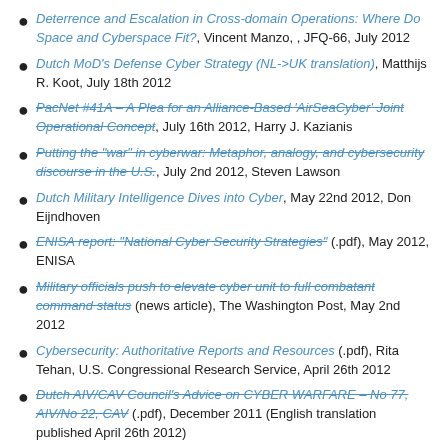Deterrence and Escalation in Cross-domain Operations: Where Do Space and Cyberspace Fit?, Vincent Manzo, , JFQ-66, July 2012
Dutch MoD's Defense Cyber Strategy (NL->UK translation), Matthijs R. Koot, July 18th 2012
PacNet #41A – A Plea for an Alliance-Based 'AirSeaCyber' Joint Operational Concept, July 16th 2012, Harry J. Kazianis
Putting the "war" in cyberwar: Metaphor, analogy, and cybersecurity discourse in the U.S., July 2nd 2012, Steven Lawson
Dutch Military Intelligence Dives into Cyber, May 22nd 2012, Don Eijndhoven
ENISA report: "National Cyber Security Strategies" (.pdf), May 2012, ENISA
Military officials push to elevate cyber unit to full combatant command status (news article), The Washington Post, May 2nd 2012
Cybersecurity: Authoritative Reports and Resources (.pdf), Rita Tehan, U.S. Congressional Research Service, April 26th 2012
Dutch AIV/CAV Council's Advice on CYBER WARFARE – No 77, AIV/No 22, CAV (.pdf), December 2011 (English translation published April 26th 2012)
Sailing the Cyber Sea (also available as .pdf), James G. Stavridis and Elton